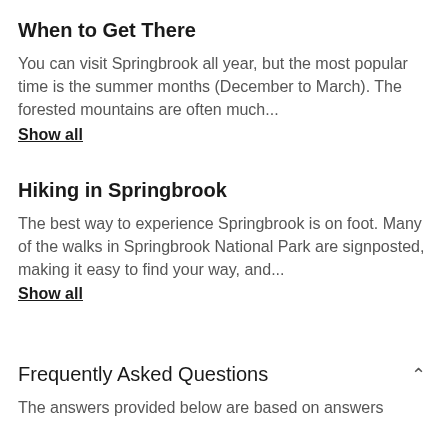When to Get There
You can visit Springbrook all year, but the most popular time is the summer months (December to March). The forested mountains are often much...
Show all
Hiking in Springbrook
The best way to experience Springbrook is on foot. Many of the walks in Springbrook National Park are signposted, making it easy to find your way, and...
Show all
Frequently Asked Questions
The answers provided below are based on answers